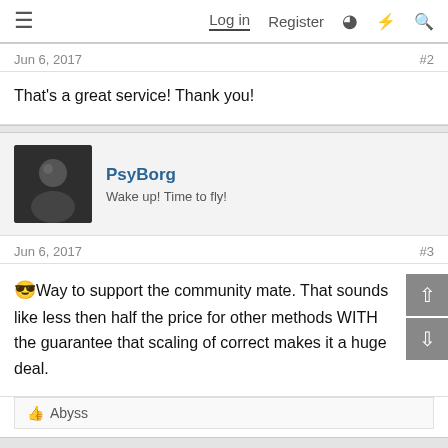Log in  Register
Jun 6, 2017   #2
That's a great service! Thank you!
PsyBorg
Wake up! Time to fly!
Jun 6, 2017   #3
😎Way to support the community mate. That sounds like less then half the price for other methods WITH the guarantee that scaling of correct makes it a huge deal.
👍 Abyss